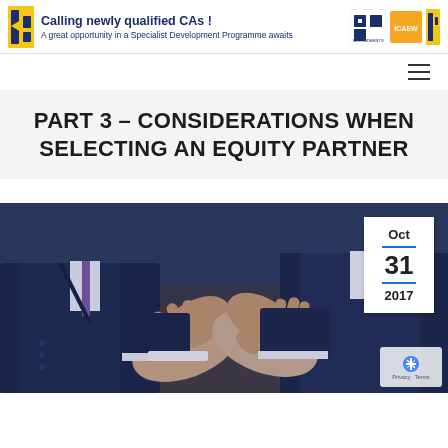Calling newly qualified CAs ! A great opportunity in a Specialist Development Programme awaits
PART 3 – CONSIDERATIONS WHEN SELECTING AN EQUITY PARTNER
[Figure (photo): Two businessmen in suits shaking hands, business meeting setting, date badge showing Oct 31 2017]